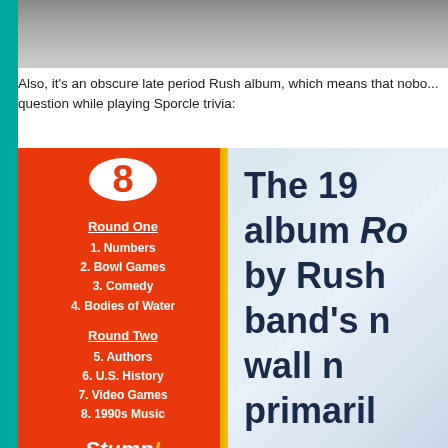[Figure (photo): Top portion of a screen or monitor showing a dark/gray area, cropped at top]
Also, it's an obscure late period Rush album, which means that nobo... question while playing Sporcle trivia:
[Figure (photo): Sporcle trivia game screen showing a Stump! trivia board. Left red panel shows Round One categories: 1. Numbers, 2. Bowl Games, 3. Comedy, 4. Bodies of Water; Round Two: 5. Authors, 6. U.S. History, 7. Video Games, 8. 1990s Music. Right panel shows partial text: 'The 19... album Ro... by Rush... band's n... wall n... primari...']